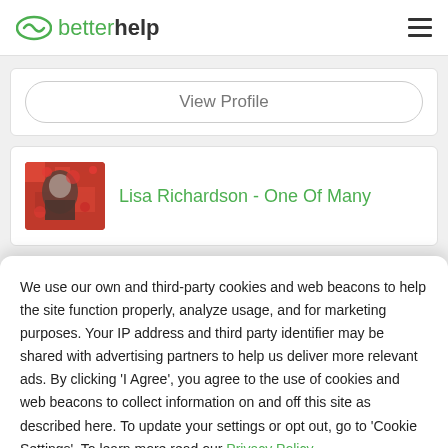betterhelp
View Profile
Lisa Richardson - One Of Many
We use our own and third-party cookies and web beacons to help the site function properly, analyze usage, and for marketing purposes. Your IP address and third party identifier may be shared with advertising partners to help us deliver more relevant ads. By clicking 'I Agree', you agree to the use of cookies and web beacons to collect information on and off this site as described here. To update your settings or opt out, go to 'Cookie Settings'. To learn more read our Privacy Policy.
Cookie Settings
I Agree